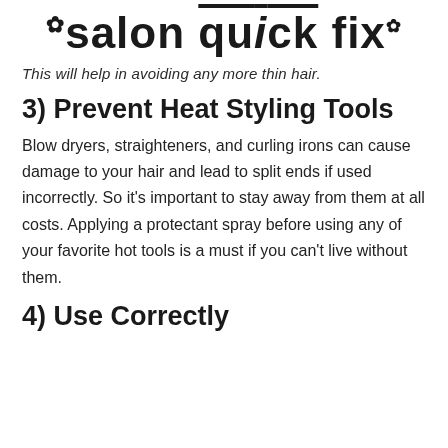salon quick fix
This will help in avoiding any more thin hair.
3) Prevent Heat Styling Tools
Blow dryers, straighteners, and curling irons can cause damage to your hair and lead to split ends if used incorrectly. So it’s important to stay away from them at all costs. Applying a protectant spray before using any of your favorite hot tools is a must if you can’t live without them.
4) Use Correctly